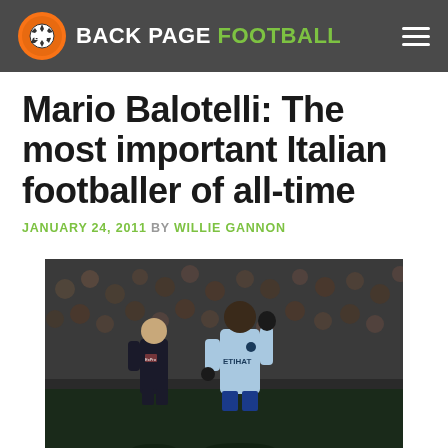BACK PAGE FOOTBALL
Mario Balotelli: The most important Italian footballer of all-time
JANUARY 24, 2011 BY WILLIE GANNON
[Figure (photo): Mario Balotelli in a light blue Manchester City Etihad jersey raising his hand, with another player in dark Aston Villa kit in the background and a crowd of spectators behind them.]